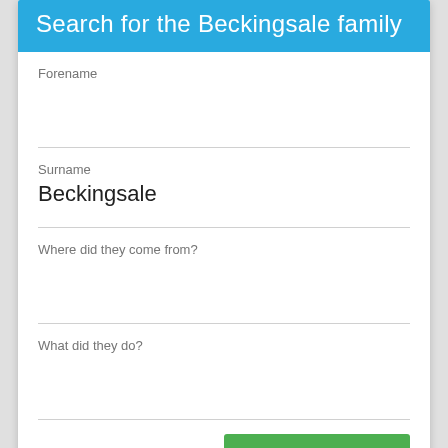Search for the Beckingsale family
Forename
Surname
Beckingsale
Where did they come from?
What did they do?
QUICK SEARCH